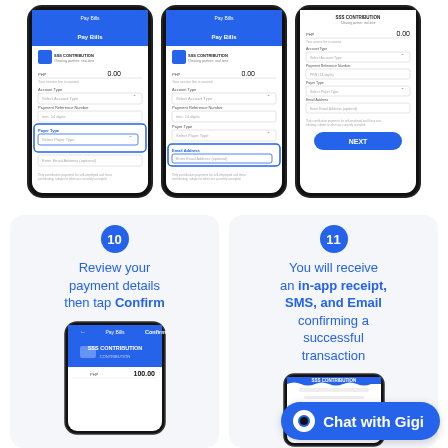[Figure (screenshot): Three smartphone screenshots showing SSS Contribution Pay Bills form in a mobile banking app, with highlighted fields for Payer Type dropdown and Email Address input]
[Figure (infographic): Step 10 card: Review your payment details then tap Confirm, with partial phone screenshot showing Confirm screen]
[Figure (infographic): Step 11 card: You will receive an in-app receipt, SMS, and Email confirming a successful transaction, with partial phone screenshot showing receipt]
Chat with Gigi